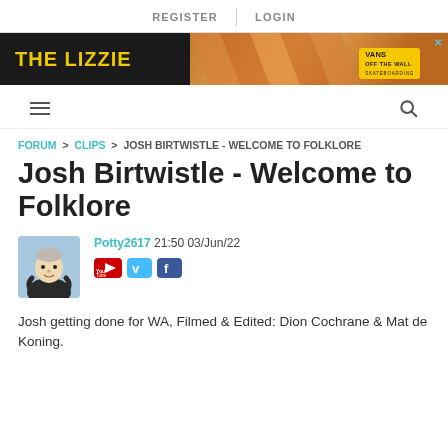REGISTER  LOGIN
[Figure (illustration): Advertisement banner for The Lizzie / Vans Off The Wall skate shoe, dark background with yellow text and geometric pattern]
≡  🔍
FORUM > CLIPS > JOSH BIRTWISTLE - WELCOME TO FOLKLORE
Josh Birtwistle - Welcome to Folklore
Potty2617 21:50 03/Jun/22
[Figure (photo): Avatar image of a Muppet-like puppet character with grey hair, wearing a dark jacket]
Josh getting done for WA, Filmed & Edited: Dion Cochrane & Mat de Koning.